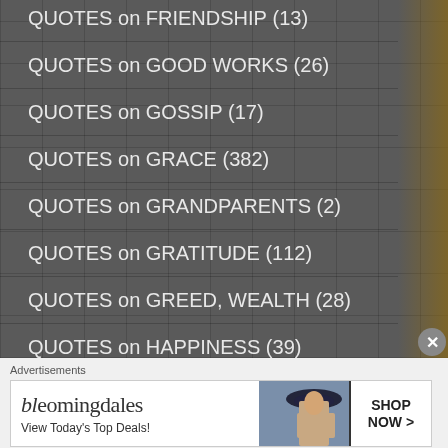QUOTES on FRIENDSHIP (13)
QUOTES on GOOD WORKS (26)
QUOTES on GOSSIP (17)
QUOTES on GRACE (382)
QUOTES on GRANDPARENTS (2)
QUOTES on GRATITUDE (112)
QUOTES on GREED, WEALTH (28)
QUOTES on HAPPINESS (39)
QUOTES on HEAVEN (254)
QUOTES on HELL (100)
QUOTES on HERESY (19)
Advertisements
[Figure (screenshot): Bloomingdale's advertisement banner with text 'View Today's Top Deals!' and 'SHOP NOW >']